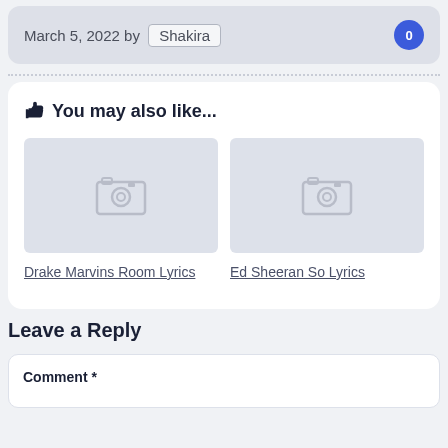March 5, 2022 by Shakira  0
👆 You may also like...
[Figure (photo): Placeholder image thumbnail for Drake Marvins Room Lyrics]
Drake Marvins Room Lyrics
[Figure (photo): Placeholder image thumbnail for Ed Sheeran So Lyrics]
Ed Sheeran So Lyrics
Leave a Reply
Comment *